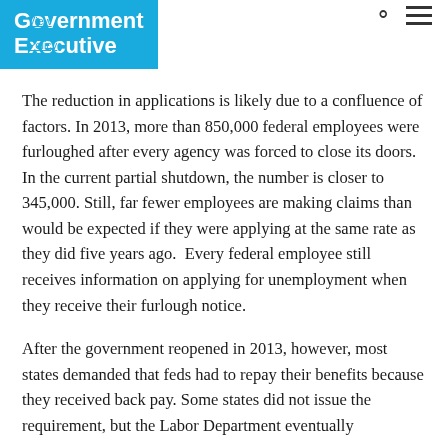Government Executive
View Privacy Policy »
The reduction in applications is likely due to a confluence of factors. In 2013, more than 850,000 federal employees were furloughed after every agency was forced to close its doors. In the current partial shutdown, the number is closer to 345,000. Still, far fewer employees are making claims than would be expected if they were applying at the same rate as they did five years ago.  Every federal employee still receives information on applying for unemployment when they receive their furlough notice.
After the government reopened in 2013, however, most states demanded that feds had to repay their benefits because they received back pay. Some states did not issue the requirement, but the Labor Department eventually